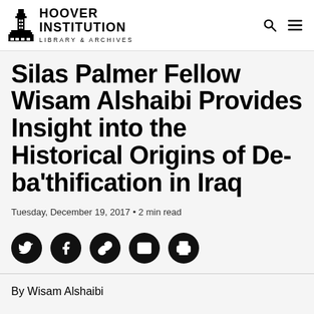Hoover Institution Library & Archives
Silas Palmer Fellow Wisam Alshaibi Provides Insight into the Historical Origins of De-ba’thification in Iraq
Tuesday, December 19, 2017 • 2 min read
[Figure (infographic): Row of 5 circular social share buttons: Twitter, Facebook, link/copy, email, print]
By Wisam Alshaibi